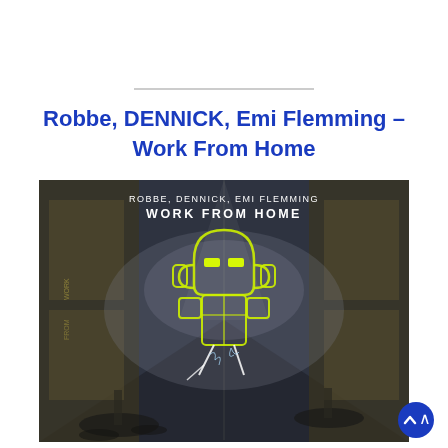Robbe, DENNICK, Emi Flemming – Work From Home
[Figure (illustration): Album cover art for 'Work From Home' by Robbe, DENNICK, Emi Flemming. A dark, moody interior venue/corridor with yellowish-green neon light art in the shape of a robot/alien figure with glowing eyes wearing headphones, standing in the center. Text on the image reads 'ROBBE, DENNICK, EMI FLEMMING' and 'WORK FROM HOME'.]